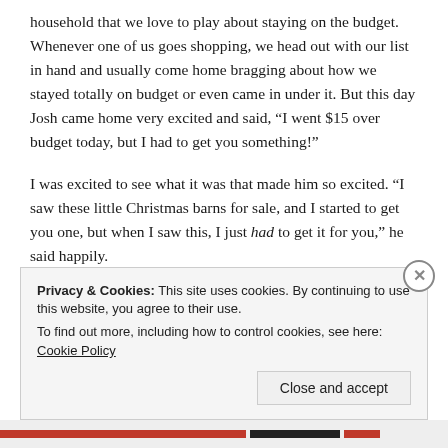household that we love to play about staying on the budget. Whenever one of us goes shopping, we head out with our list in hand and usually come home bragging about how we stayed totally on budget or even came in under it. But this day Josh came home very excited and said, “I went $15 over budget today, but I had to get you something!”
I was excited to see what it was that made him so excited. “I saw these little Christmas barns for sale, and I started to get you one, but when I saw this, I just had to get it for you,” he said happily.
Privacy & Cookies: This site uses cookies. By continuing to use this website, you agree to their use. To find out more, including how to control cookies, see here: Cookie Policy
Close and accept